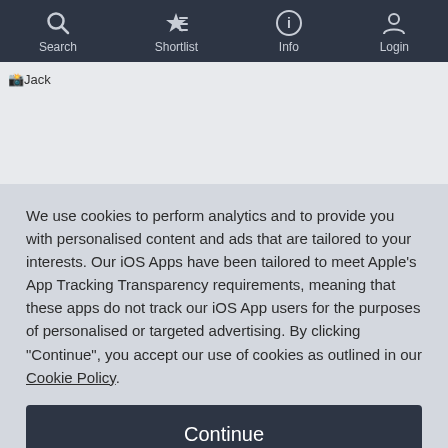Search  Shortlist  Info  Login
[Figure (screenshot): Broken image placeholder labeled 'Jack' on a light gray background]
We use cookies to perform analytics and to provide you with personalised content and ads that are tailored to your interests. Our iOS Apps have been tailored to meet Apple's App Tracking Transparency requirements, meaning that these apps do not track our iOS App users for the purposes of personalised or targeted advertising. By clicking "Continue", you accept our use of cookies as outlined in our Cookie Policy.
Continue